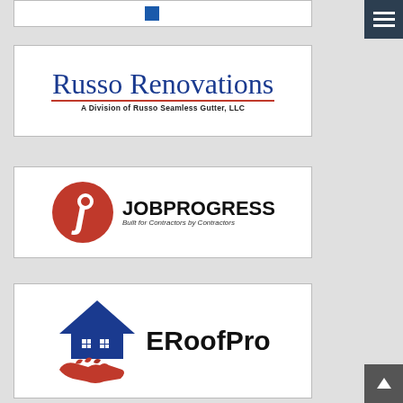[Figure (logo): Partial logo card at top (cut off)]
[Figure (logo): Russo Renovations logo - A Division of Russo Seamless Gutter, LLC]
[Figure (logo): JobProgress logo - Built for Contractors by Contractors]
[Figure (logo): ERoofPro logo with house and handshake icon]